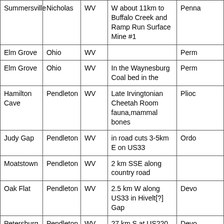| Location | County | State | Description | Age |
| --- | --- | --- | --- | --- |
| Summersville | Nicholas | WV | W about 11km to Buffalo Creek and Ramp Run Surface Mine #1 | Penna... |
| Elm Grove | Ohio | WV |  | Perm... |
| Elm Grove | Ohio | WV | In the Waynesburg Coal bed in the | Perm... |
| Hamilton Cave | Pendleton | WV | Late Irvingtonian Cheetah Room fauna,mammal bones | Plioc... |
| Judy Gap | Pendleton | WV | in road cuts 3-5km E on US33 | Ordo... |
| Moatstown | Pendleton | WV | 2 km SSE along country road |  |
| Oak Flat | Pendleton | WV | 2.5 km W along US33 in Hivelt[?] Gap | Devo... |
| Petersburg | Pendleton | WV | 27 km S at US220 bridge over Potomac | Devo... |